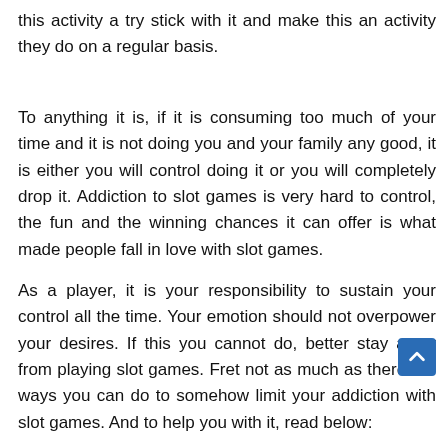this activity a try stick with it and make this an activity they do on a regular basis.
To anything it is, if it is consuming too much of your time and it is not doing you and your family any good, it is either you will control doing it or you will completely drop it. Addiction to slot games is very hard to control, the fun and the winning chances it can offer is what made people fall in love with slot games.
As a player, it is your responsibility to sustain your control all the time. Your emotion should not overpower your desires. If this you cannot do, better stay away from playing slot games. Fret not as much as there are ways you can do to somehow limit your addiction with slot games. And to help you with it, read below: